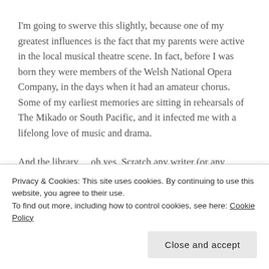I'm going to swerve this slightly, because one of my greatest influences is the fact that my parents were active in the local musical theatre scene. In fact, before I was born they were members of the Welsh National Opera Company, in the days when it had an amateur chorus. Some of my earliest memories are sitting in rehearsals of The Mikado or South Pacific, and it infected me with a lifelong love of music and drama.
And the library… oh yes. Scratch any writer (or any decent writer) and you'll find a reader. Precocious little swot that I was, at primary school I remember asking if I could use the
Privacy & Cookies: This site uses cookies. By continuing to use this website, you agree to their use.
To find out more, including how to control cookies, see here: Cookie Policy
Close and accept
favourites (Wodehouse stills – perhaps the nicest